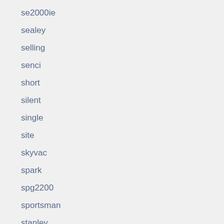se2000ie
sealey
selling
senci
short
silent
single
site
skyvac
spark
spg2200
sportsman
stanley
start
stephill
stock
store
stroke